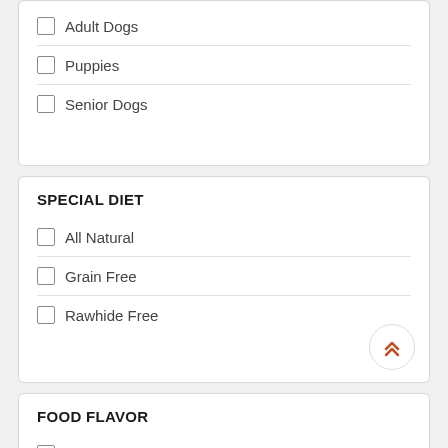Adult Dogs
Puppies
Senior Dogs
SPECIAL DIET
All Natural
Grain Free
Rawhide Free
FOOD FLAVOR
Boar